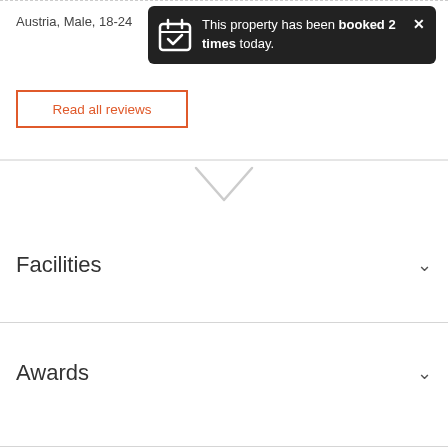Austria, Male, 18-24
[Figure (screenshot): Dark notification tooltip reading 'This property has been booked 2 times today.' with a calendar check icon and an X close button]
Read all reviews
[Figure (other): Horizontal divider line with a downward-pointing chevron/arrow in the center]
Facilities
Awards